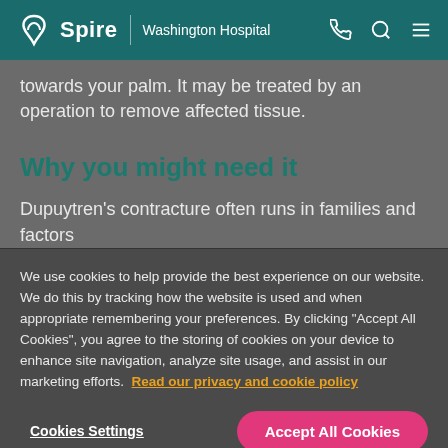Spire | Washington Hospital
towards your palm. It may be treated by an operation to remove affected tissue.
Why you might need it
Dupuytren's contracture often runs in families and factors
We use cookies to help provide the best experience on our website. We do this by tracking how the website is used and when appropriate remembering your preferences. By clicking "Accept All Cookies", you agree to the storing of cookies on your device to enhance site navigation, analyze site usage, and assist in our marketing efforts. Read our privacy and cookie policy
Cookies Settings
Accept All Cookies